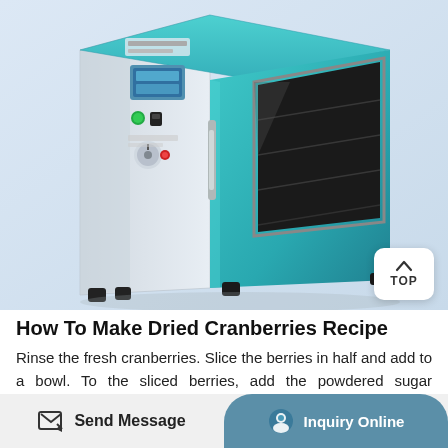[Figure (photo): Industrial laboratory drying oven with teal/turquoise front door featuring a rectangular glass window showing interior shelves. The unit has a white side panel with digital control display, green power button, and dial controls. The oven sits on small rubber feet against a light blue-gray background.]
How To Make Dried Cranberries Recipe
Rinse the fresh cranberries. Slice the berries in half and add to a bowl. To the sliced berries, add the powdered sugar substitute and the avocado oil. Stir well to coat the berries. Pour the coated berries onto the prepared baking sheet and
Send Message | Inquiry Online